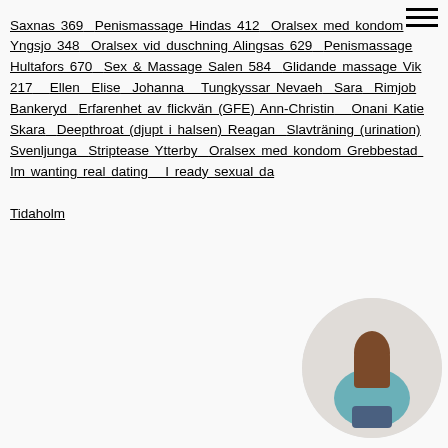Saxnas 369 Penismassage Hindas 412 Oralsex med kondom Yngsjo 348 Oralsex vid duschning Alingsas 629 Penismassage Hultafors 670 Sex & Massage Salen 584 Glidande massage Vik 217 Ellen Elise Johanna Tungkyssar Nevaeh Sara Rimjob Bankeryd Erfarenhet av flickvän (GFE) Ann-Christin Onani Katie Skara Deepthroat (djupt i halsen) Reagan Slavträning (urination) Svenljunga Striptease Ytterby Oralsex med kondom Grebbestad Im wanting real dating I ready sexual da Tidaholm
[Figure (photo): Circular cropped photo of a woman in a teal top and denim shorts, viewed from behind, positioned in the bottom right corner]